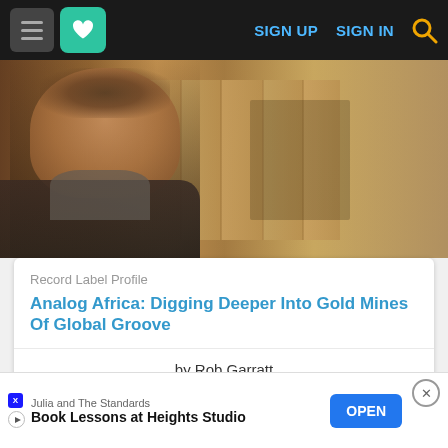SIGN UP  SIGN IN
[Figure (photo): A man with a beard and hoodie jacket standing in front of shelves with cardboard record boxes and colorful vinyl records]
Record Label Profile
Analog Africa: Digging Deeper Into Gold Mines Of Global Groove
by Rob Garratt
[Figure (photo): Partial view of a red circular record label]
Julia and The Standards
Book Lessons at Heights Studio
OPEN